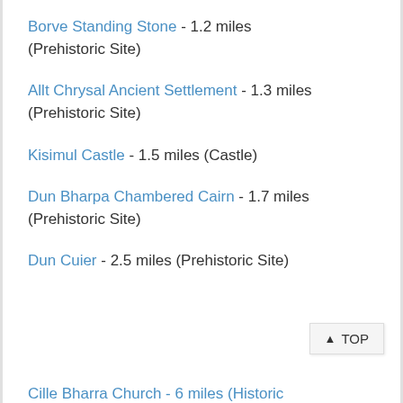Borve Standing Stone - 1.2 miles (Prehistoric Site)
Allt Chrysal Ancient Settlement - 1.3 miles (Prehistoric Site)
Kisimul Castle - 1.5 miles (Castle)
Dun Bharpa Chambered Cairn - 1.7 miles (Prehistoric Site)
Dun Cuier - 2.5 miles (Prehistoric Site)
Cille Bharra Church - 6 miles (Historic